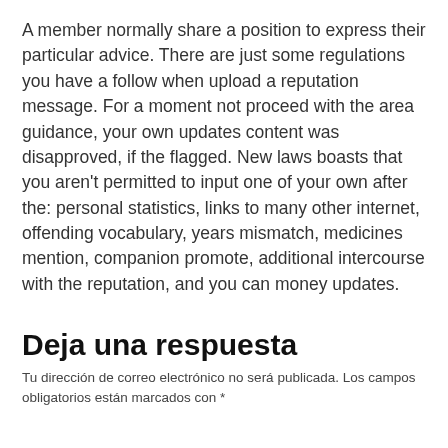A member normally share a position to express their particular advice. There are just some regulations you have a follow when upload a reputation message. For a moment not proceed with the area guidance, your own updates content was disapproved, if the flagged. New laws boasts that you aren't permitted to input one of your own after the: personal statistics, links to many other internet, offending vocabulary, years mismatch, medicines mention, companion promote, additional intercourse with the reputation, and you can money updates.
Deja una respuesta
Tu dirección de correo electrónico no será publicada. Los campos obligatorios están marcados con *